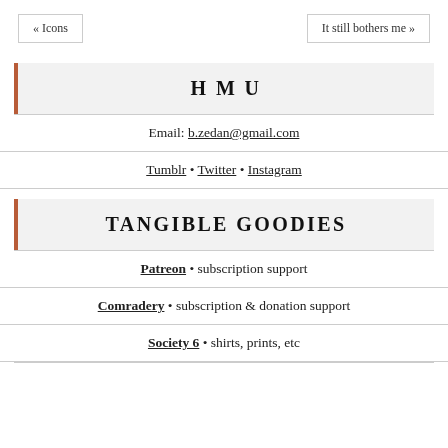« Icons   It still bothers me »
HMU
Email: b.zedan@gmail.com
Tumblr • Twitter • Instagram
TANGIBLE GOODIES
Patreon • subscription support
Comradery • subscription & donation support
Society 6 • shirts, prints, etc